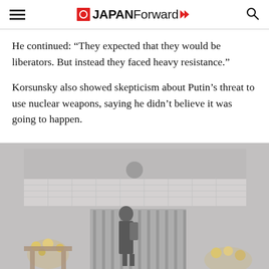JAPAN Forward
He continued: “They expected that they would be liberators. But instead they faced heavy resistance.”
Korsunsky also showed skepticism about Putin’s threat to use nuclear weapons, saying he didn’t believe it was going to happen.
[Figure (photo): A person standing at the gate of a building (likely the Ukrainian embassy or consulate), with flowers placed at the entrance. The building has a tiled facade and a Ukrainian emblem visible. The scene is overcast/foggy.]